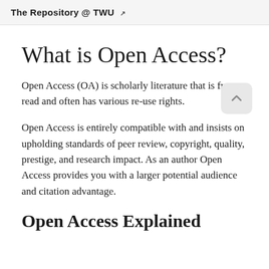The Repository @ TWU ↗
What is Open Access?
Open Access (OA) is scholarly literature that is free to read and often has various re-use rights.
Open Access is entirely compatible with and insists on upholding standards of peer review, copyright, quality, prestige, and research impact. As an author Open Access provides you with a larger potential audience and citation advantage.
Open Access Explained